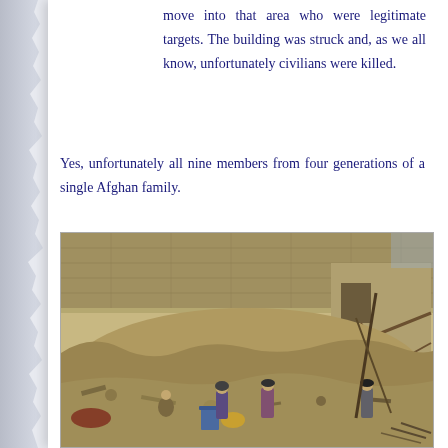move into that area who were legitimate targets. The building was struck and, as we all know, unfortunately civilians were killed.
Yes, unfortunately all nine members from four generations of a single Afghan family.
[Figure (photo): Photograph showing aftermath of a bombing/airstrike on an Afghan building. Several people dressed in traditional Afghan clothing stand and search through rubble and debris of a destroyed mud-brick structure.]